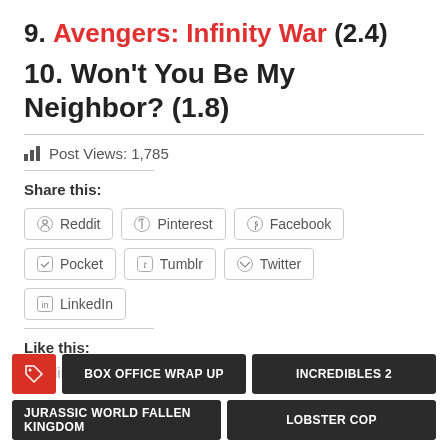9. Avengers: Infinity War (2.4)
10. Won't You Be My Neighbor? (1.8)
Post Views: 1,785
Share this:
Reddit Pinterest Facebook Pocket Tumblr Twitter LinkedIn
Like this:
Loading...
BOX OFFICE WRAP UP  INCREDIBLES 2  JURASSIC WORLD FALLEN KINGDOM  LOBSTER COP